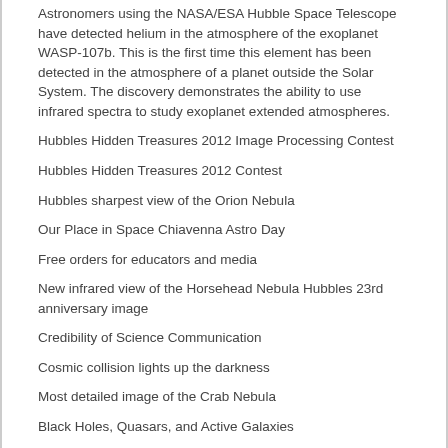Astronomers using the NASA/ESA Hubble Space Telescope have detected helium in the atmosphere of the exoplanet WASP-107b. This is the first time this element has been detected in the atmosphere of a planet outside the Solar System. The discovery demonstrates the ability to use infrared spectra to study exoplanet extended atmospheres.
Hubbles Hidden Treasures 2012 Image Processing Contest
Hubbles Hidden Treasures 2012 Contest
Hubbles sharpest view of the Orion Nebula
Our Place in Space Chiavenna Astro Day
Free orders for educators and media
New infrared view of the Horsehead Nebula Hubbles 23rd anniversary image
Credibility of Science Communication
Cosmic collision lights up the darkness
Most detailed image of the Crab Nebula
Black Holes, Quasars, and Active Galaxies